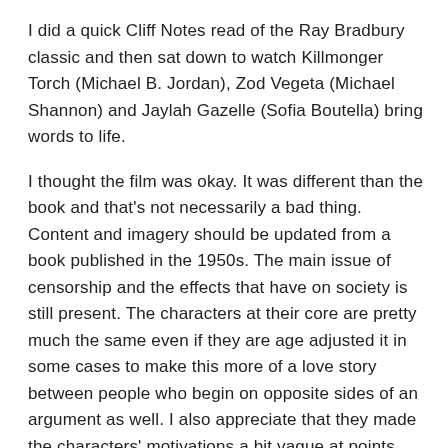I did a quick Cliff Notes read of the Ray Bradbury classic and then sat down to watch Killmonger Torch (Michael B. Jordan), Zod Vegeta (Michael Shannon) and Jaylah Gazelle (Sofia Boutella) bring words to life.
I thought the film was okay. It was different than the book and that's not necessarily a bad thing. Content and imagery should be updated from a book published in the 1950s. The main issue of censorship and the effects that have on society is still present. The characters at their core are pretty much the same even if they are age adjusted it in some cases to make this more of a love story between people who begin on opposite sides of an argument as well. I also appreciate that they made the characters' motivations a bit vague at points and not particularly concrete because that's how most people are. We aren't all just one thing and we have both nobility and savage stupidity in us at the same time.